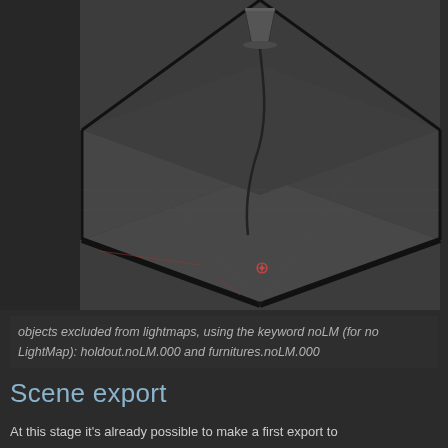[Figure (screenshot): 3D viewport screenshot showing a room scene with a floor lamp object suspended from the top and a camera/origin point visible at the bottom center. The scene has a dark grey background with isometric grid lines forming a box/room shape. The lamp has a cylindrical shade at top and a thin curved wire/pole body.]
objects excluded from lightmaps, using the keyword noLM (for no LightMap): holdout.noLM.000 and furnitures.noLM.000
Scene export
At this stage it's already possible to make a first export to